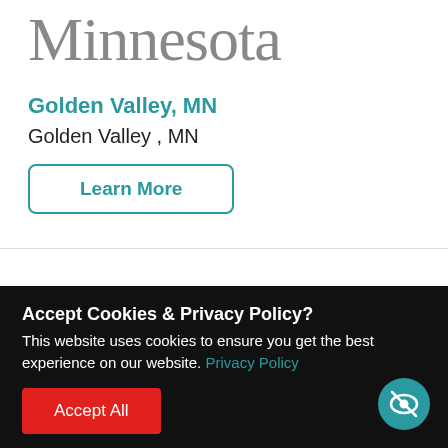Minnesota
Golden Valley, MN
Golden Valley , MN
Learn More
Missouri
Accept Cookies & Privacy Policy?
This website uses cookies to ensure you get the best experience on our website. Privacy Policy
Accept All